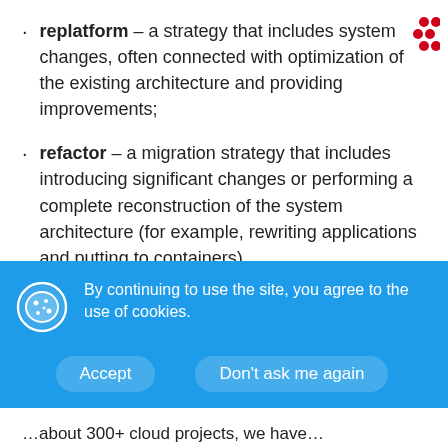replatform – a strategy that includes system changes, often connected with optimization of the existing architecture and providing improvements;
refactor – a migration strategy that includes introducing significant changes or performing a complete reconstruction of the system architecture (for example, rewriting applications and putting to containers).
We can support your need to modify the back-end layer of your system. If you wish to optimize the application or pay off technical debt during cloud migration process, contact us
By continuing to use the site, you agree to the use of cookies.
Accept   Don't ask me again